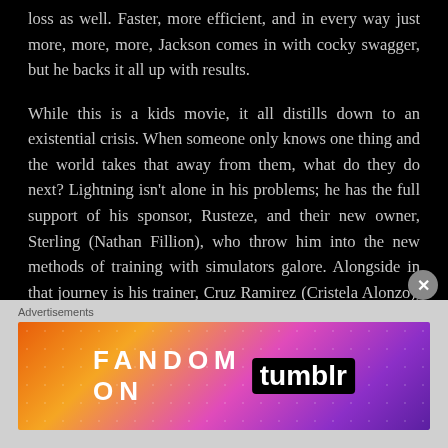loss as well. Faster, more efficient, and in every way just more, more, more, Jackson comes in with cocky swagger, but he backs it all up with results.
While this is a kids movie, it all distills down to an existential crisis. When someone only knows one thing and the world takes that away from them, what do they do next? Lightning isn't alone in his problems; he has the full support of his sponsor, Rusteze, and their new owner, Sterling (Nathan Fillion), who throw him into the new methods of training with simulators galore. Alongside in that journey is his trainer, Cruz Ramirez (Cristela Alonzo), a zippy car with aspirations beyond simulation. Lightning insists on taking his studies outside of the facilities with Cruz, and that is where the main portion of the film takes
Advertisements
[Figure (other): Fandom on Tumblr advertisement banner with colorful gradient background (orange to purple) with decorative dots and musical note patterns, displaying 'FANDOM ON tumblr' text]